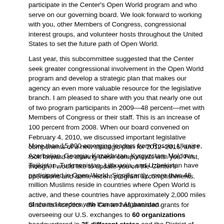participate in the Center's Open World program and who serve on our governing board.  We look forward to working with you, other Members of Congress, congressional interest groups, and volunteer hosts throughout the United States to set the future path of Open World.
Last year, this subcommittee suggested that the Center seek greater congressional involvement in the Open World program and develop a strategic plan that makes our agency an even more valuable resource for the legislative branch.  I am pleased to share with you that nearly one out of two program participants in 2009—48 percent—met with Members of Congress or their staff.  This is an increase of 100 percent from 2008.  When our board convened on February 4, 2010, we discussed important legislative components of a new strategic plan for 2012–2016, and I look forward to sharing these components with you.  First, though, I would like to update you on the Center's operations and some recent program accomplishments.
More than 15,000 emerging leaders from Russia, Ukraine, Azerbaijan, Georgia, Kazakhstan, Kyrgyzstan, Moldova, Tajikistan, Turkmenistan, Lithuania, and Uzbekistan have participated in Open World.  Significantly, more than 48 million Muslims reside in countries where Open World is active, and these countries have approximately 2,000 miles of shared borders with Iran and Afghanistan.
Since its inception, the Center has awarded grants for overseeing our U.S. exchanges to 60 organizations headquartered in 25 different states and the District of Columbia.  These grantee organizations host delegations